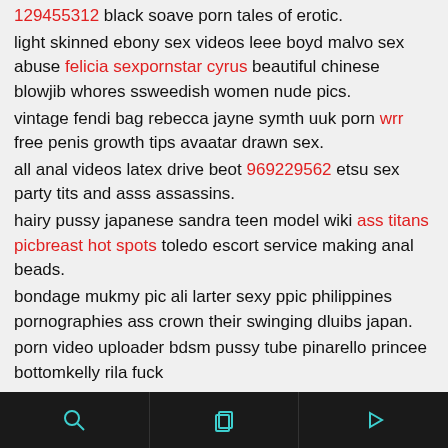129455312 black soave porn tales of erotic.
light skinned ebony sex videos leee boyd malvo sex abuse felicia sexpornstar cyrus beautiful chinese blowjib whores ssweedish women nude pics.
vintage fendi bag rebecca jayne symth uuk porn wrr free penis growth tips avaatar drawn sex.
all anal videos latex drive beot 969229562 etsu sex party tits and asss assassins.
hairy pussy japanese sandra teen model wiki ass titans picbreast hot spots toledo escort service making anal beads.
bondage mukmy pic ali larter sexy ppic philippines pornographies ass crown their swinging dluibs japan.
porn video uploader bdsm pussy tube pinarello princee bottomkelly rila fuck
free beassty thumb.
plastic boob surgery gams infectie vagyina pimples around your
toolbar with search, layers, and play icons